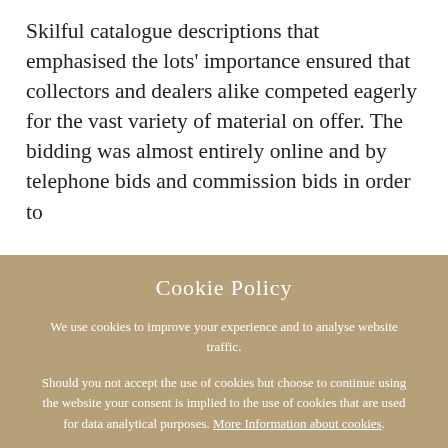Skilful catalogue descriptions that emphasised the lots' importance ensured that collectors and dealers alike competed eagerly for the vast variety of material on offer. The bidding was almost entirely online and by telephone bids and commission bids in order to
Cookie Policy
We use cookies to improve your experience and to analyse website traffic.
Should you not accept the use of cookies but choose to continue using the website your consent is implied to the use of cookies that are used for data analytical purposes. More Information about cookies.
CONTINUE